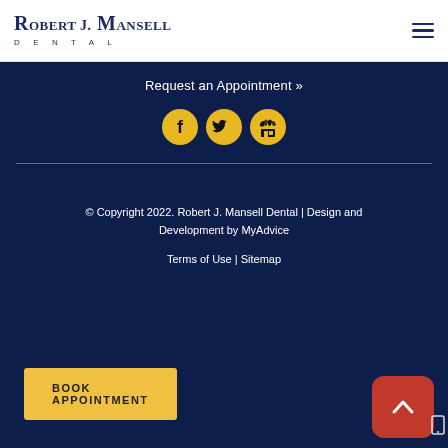[Figure (logo): Robert J. Mansell Dental logo — stylized text with large initials in navy blue, with 'DENTAL' subtitle in small caps]
Request an Appointment »
[Figure (illustration): Three circular social media icon buttons in gold/yellow: Facebook (f), Twitter (bird), and Google My Business (storefront) icons in black]
© Copyright 2022. Robert J. Mansell Dental | Design and Development by MyAdvice
Terms of Use | Sitemap
BOOK APPOINTMENT